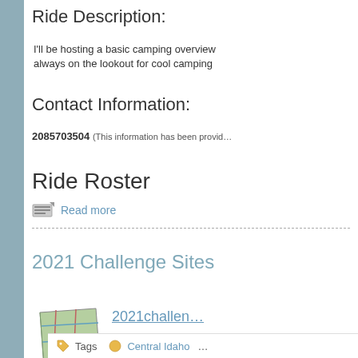Ride Description:
I'll be hosting a basic camping overview always on the lookout for cool camping
Contact Information:
2085703504 (This information has been provid…
Ride Roster
Read more
2021 Challenge Sites
[Figure (illustration): A folded map with a compass icon]
2021challen…
Rt Click + Save As
File Size: 17.498 ki
Tags  Central Idaho  …